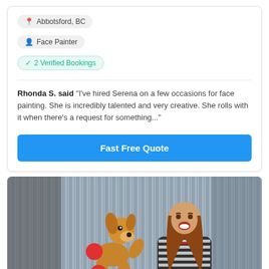Abbotsford, BC
Face Painter
2 Verified Bookings
Rhonda S. said "I've hired Serena on a few occasions for face painting. She is incredibly talented and very creative. She rolls with it when there's a request for something..."
Fast Free Quote
[Figure (photo): A smiling woman holding a large balloon animal shaped like a dog (Mickey Mouse style), standing in front of a silver tinsel curtain backdrop. She is wearing a black and white striped top with a red beaded necklace.]